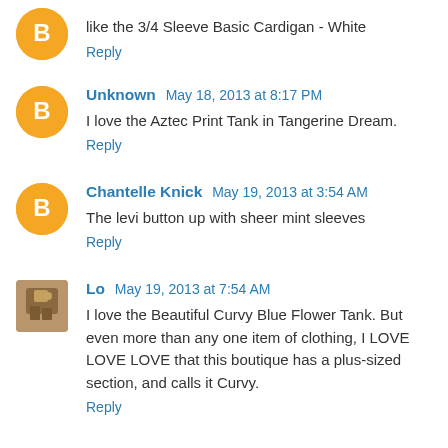like the 3/4 Sleeve Basic Cardigan - White
Reply
Unknown May 18, 2013 at 8:17 PM
I love the Aztec Print Tank in Tangerine Dream.
Reply
Chantelle Knick May 19, 2013 at 3:54 AM
The levi button up with sheer mint sleeves
Reply
Lo May 19, 2013 at 7:54 AM
I love the Beautiful Curvy Blue Flower Tank. But even more than any one item of clothing, I LOVE LOVE LOVE that this boutique has a plus-sized section, and calls it Curvy.
Reply